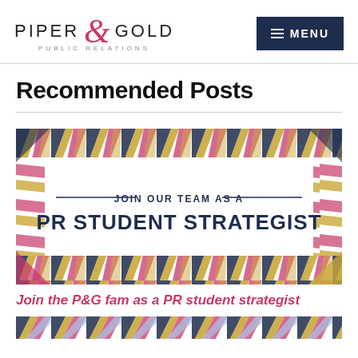Piper & Gold Public Relations — MENU
Recommended Posts
[Figure (illustration): Decorative banner with diagonal chevron/stripe border pattern in navy, gold, magenta, and light blue colors. Center white area contains text: JOIN OUR TEAM AS A PR STUDENT STRATEGIST]
Join the P&G fam as a PR student strategist
[Figure (illustration): Bottom decorative strip with alternating diagonal chevron pattern in navy, gold, magenta, and light blue]